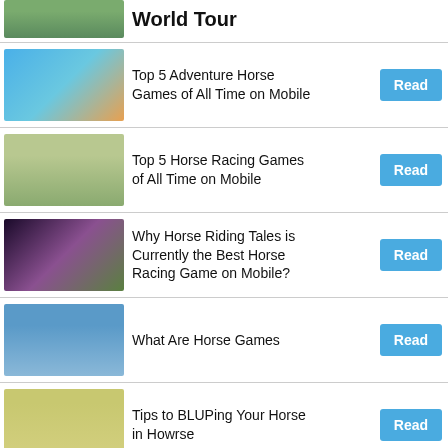World Tour
Top 5 Adventure Horse Games of All Time on Mobile
Top 5 Horse Racing Games of All Time on Mobile
Why Horse Riding Tales is Currently the Best Horse Racing Game on Mobile?
What Are Horse Games
Tips to BLUPing Your Horse in Howrse
How to Price Your Horses in Howrse
How to Earn Equus Quickly in Howrse